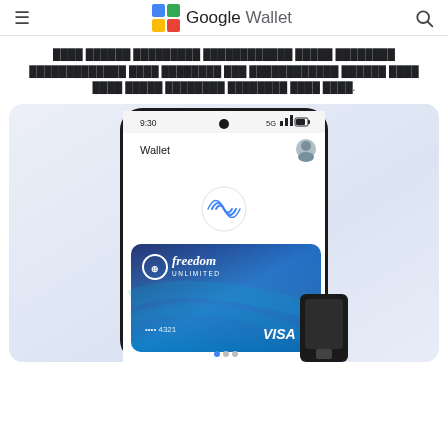Google Wallet
ලෝකේ ජනප්‍රිය ගෙවීමේ ආරක්‍ෂිතව ඔබේ ගෙවීම් කරන්නන් ඔබේ ගෙවීම් ලබා ගත හැකිවෙනවා ඔබේ ඔබේ ඔබේ ගෙවීම් ලබාවෙනවා ඔබේ ගෙවීම් ලබා.
[Figure (screenshot): Google Wallet app screenshot showing a phone with NFC payment interface and a Chase Freedom Unlimited Visa credit card ending in 4321]